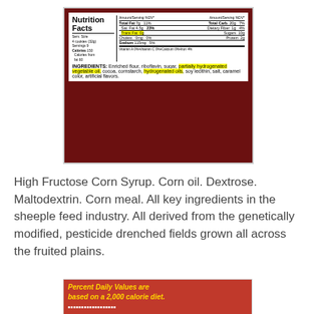[Figure (photo): Nutrition Facts label photo showing serving size 4 cookies (32g), servings 9, calories 150, calories from fat 60, total fat 7g 11%, sat fat 4.5g 23%, trans fat 0g highlighted in yellow, cholesterol 0mg 0%, sodium 115mg 5%, total carb 20g 7%, dietary fiber 1g 4%, sugars 10g, protein 2g, vitamins. Ingredients list including enriched flour, riboflavin, sugar, partially hydrogenated vegetable oil (highlighted), cocoa, cornstarch, hydrogenated oils (highlighted), soy lecithin, salt, caramel color, artificial flavors.]
High Fructose Corn Syrup. Corn oil. Dextrose. Maltodextrin. Corn meal. All key ingredients in the sheeple feed industry. All derived from the genetically modified, pesticide drenched fields grown all across the fruited plains.
[Figure (photo): Partially visible nutrition label on red background showing 'Percent Daily Values are based on a 2,000 calorie diet.' in yellow bold italic text.]